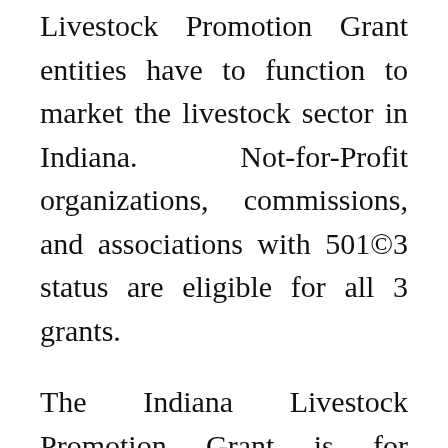Livestock Promotion Grant entities have to function to market the livestock sector in Indiana. Not-for-Profit organizations, commissions, and associations with 501©3 status are eligible for all 3 grants.
The Indiana Livestock Promotion Grant is for qualifying organizations to submit project proposals designed to promote the livestock industry in Indiana.